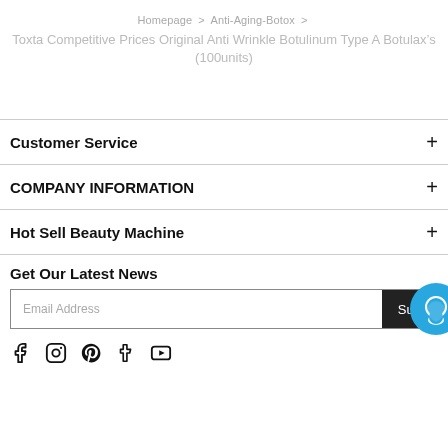Homepage > Anti-Aging-Botox >
Toxta Competitive Prices Original Anti Wrinkle Botulinum Type A Botulax’s (100units)
Customer Service +
COMPANY INFORMATION +
Hot Sell Beauty Machine +
Get Our Latest News
Email Address  Sub
[Figure (other): Blue chat bubble icon (round messenger-style icon)]
[Figure (other): Social media icons row: Facebook, Instagram, Pinterest, Tumblr, YouTube]